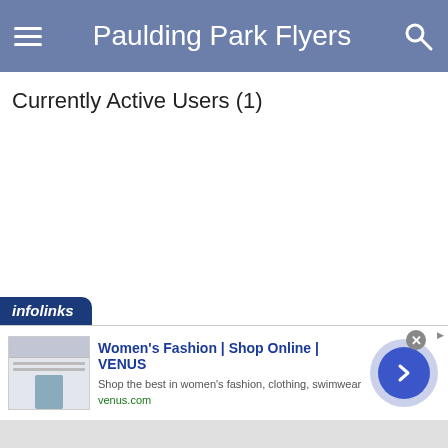Paulding Park Flyers
Currently Active Users (1)
[Figure (infographic): Advertisement banner with Infolinks badge. Headline: Women's Fashion | Shop Online | VENUS. Description: Shop the best in women's fashion, clothing, swimwear. URL: venus.com. Contains thumbnail image, close button, and arrow button.]